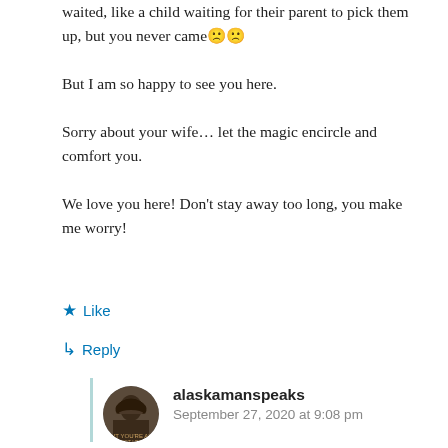waited, like a child waiting for their parent to pick them up, but you never came 🙁🙁
But I am so happy to see you here.
Sorry about your wife… let the magic encircle and comfort you.
We love you here! Don't stay away too long, you make me worry!
★ Like
↳ Reply
alaskamanspeaks
September 27, 2020 at 9:08 pm